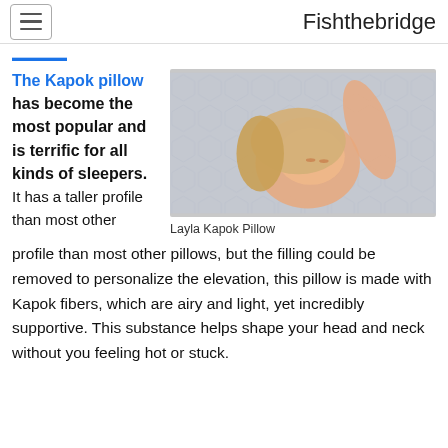Fishthebridge
The Kapok pillow has become the most popular and is terrific for all kinds of sleepers. It has a taller profile than most other pillows, but the filling could be removed to personalize the elevation, this pillow is made with Kapok fibers, which are airy and light, yet incredibly supportive. This substance helps shape your head and neck without you feeling hot or stuck.
[Figure (photo): Woman sleeping on a Layla Kapok pillow with hexagonal pattern cover, smiling with eyes closed, resting her head on the pillow]
Layla Kapok Pillow